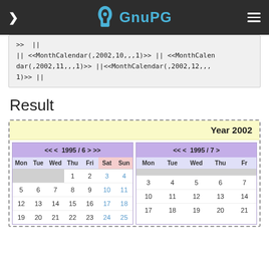GnuPG
>> ||
|| <<MonthCalendar(,2002,10,,,1)>> || <<MonthCalendar(,2002,11,,,1)>> ||<<MonthCalendar(,2002,12,,,1)>> ||
Result
[Figure (screenshot): Calendar result showing Year 2002 with two monthly calendars side by side for 1995/6 and 1995/7. June 1995 shows Mon-Sun columns with dates 1-25 visible. July 1995 shows Mon-Fr columns with dates 3-21 visible.]